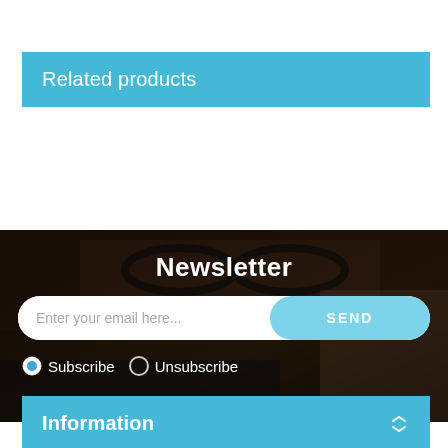Related products
[Figure (photo): Dark background photo showing glasses and a keyboard on a desk, overlaid with a Newsletter signup section containing an email input field, a SEND button, and Subscribe/Unsubscribe radio buttons.]
Information